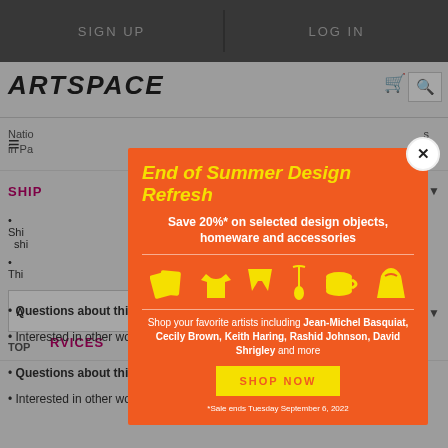SIGN UP   LOG IN
[Figure (screenshot): Artspace website background with logo, hamburger menu, search, cart icons, shipping info section, and services section partially visible behind modal overlay]
[Figure (infographic): Orange promotional modal popup titled 'End of Summer Design Refresh' with yellow bold italic text. Save 20%* on selected design objects, homeware and accessories. Icons showing art prints, t-shirt, shorts, pendant necklace, cup/mug, and tote bag in yellow on orange background. Text: Shop your favorite artists including Jean-Michel Basquiat, Cecily Brown, Keith Haring, Rashid Johnson, David Shrigley and more. Yellow SHOP NOW button. Footnote: *Sale ends Tuesday September 6, 2022]
Questions about this work?
Interested in other works by this artist or other artists? We will